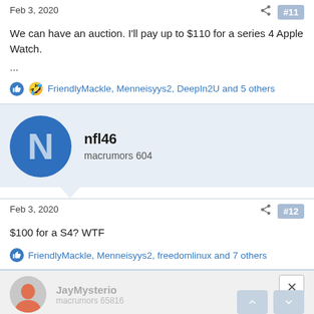Feb 3, 2020
We can have an auction. I'll pay up to $110 for a series 4 Apple Watch.
...
FriendlyMackle, Menneisyys2, DeepIn2U and 5 others
nfl46
macrumors 604
Feb 3, 2020
$100 for a S4? WTF
FriendlyMackle, Menneisyys2, freedomlinux and 7 others
JayMysterio
macrumors 65816